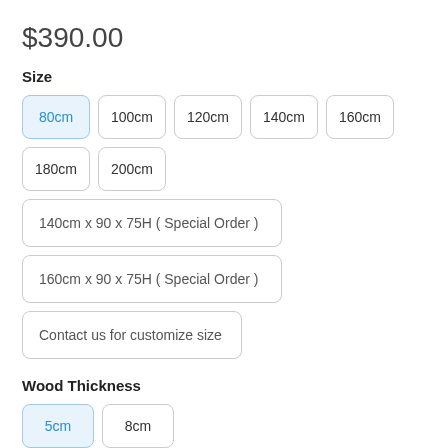$390.00
Size
80cm
100cm
120cm
140cm
160cm
180cm
200cm
140cm x 90 x 75H ( Special Order )
160cm x 90 x 75H ( Special Order )
Contact us for customize size
Wood Thickness
5cm
8cm